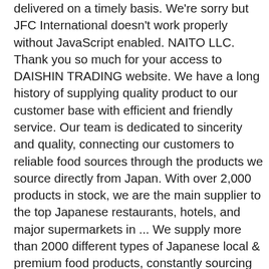delivered on a timely basis. We're sorry but JFC International doesn't work properly without JavaScript enabled. NAITO LLC. Thank you so much for your access to DAISHIN TRADING website. We have a long history of supplying quality product to our customer base with efficient and friendly service. Our team is dedicated to sincerity and quality, connecting our customers to reliable food sources through the products we source directly from Japan. With over 2,000 products in stock, we are the main supplier to the top Japanese restaurants, hotels, and major supermarkets in ... We supply more than 2000 different types of Japanese local & premium food products, constantly sourcing for quality, cost efficient supplies. Taste Masters LLC is a limited liability company trading in specialty food products. From your favourite soft drink to your favourite snack, we've got it all! Order your Japanese food online today! The company also operates a Japanese restaurant in the West of London. Please let us know your requirements by contacting one of our offices or sales reps. JFT Japan Foods Trading MELBOURNE 6-8 Kim Close, Bulleen 3105 Victoria, Australia P: +61 (0)3 9852 2277 F: +61 (0)3 9852 2297 [email protected], JFT Japan Foods Trading TASMANIA 2 / 1055 Cambridge Road, Cambridge 7170 Tasmania, Australia P: +61 (0)3 6240 3352 [email protected]. Get free quote and latest price from quality supplier, trader and distributor